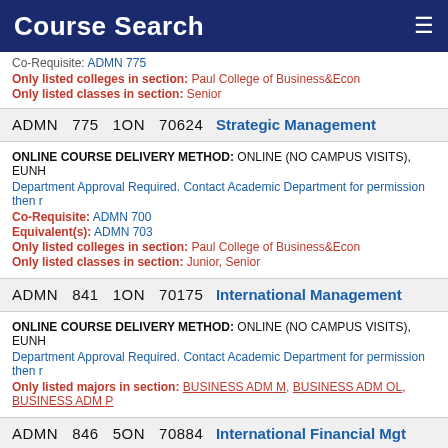Course Search
Co-Requisite: ADMN 775
Only listed colleges in section: Paul College of Business&Econ
Only listed classes in section: Senior
ADMN 775 1ON 70624 Strategic Management
ONLINE COURSE DELIVERY METHOD: ONLINE (NO CAMPUS VISITS), EUNH
Department Approval Required. Contact Academic Department for permission then r
Co-Requisite: ADMN 700
Equivalent(s): ADMN 703
Only listed colleges in section: Paul College of Business&Econ
Only listed classes in section: Junior, Senior
ADMN 841 1ON 70175 International Management
ONLINE COURSE DELIVERY METHOD: ONLINE (NO CAMPUS VISITS), EUNH
Department Approval Required. Contact Academic Department for permission then r
Only listed majors in section: BUSINESS ADM M, BUSINESS ADM OL, BUSINESS ADM P
ADMN 846 5ON 70884 International Financial Mgt
ONLINE COURSE DELIVERY METHOD: ONLINE (NO CAMPUS VISITS), EUNH
Department Approval Required. Contact Academic Department for permission then r
ADMN 863 1ON 70212 Marketing Analytics
ONLINE COURSE DELIVERY METHOD: ONLINE (NO CAMPUS VISITS), EUNH